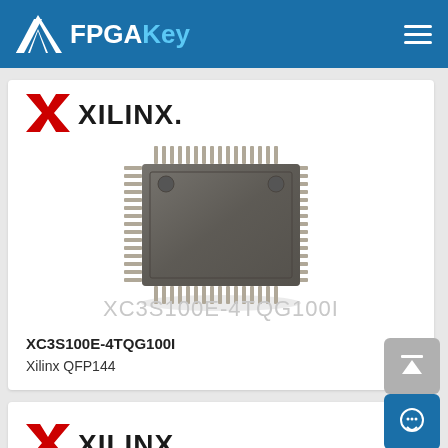FPGAKey
[Figure (logo): Xilinx logo with red X mark and XILINX. text]
[Figure (photo): Xilinx FPGA chip XC3S100E-4TQG100I in QFP144 package, top-down view showing gray square chip body with pins on all four sides]
XC3S100E-4TQG100I
XC3S100E-4TQG100I
Xilinx QFP144
[Figure (logo): Xilinx logo with red X mark and XILINX. text (second card)]